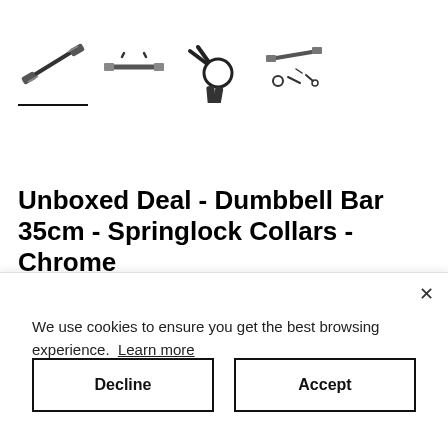[Figure (photo): Four thumbnail images of a dumbbell bar with springlock collars in chrome, showing various angles and components]
Unboxed Deal - Dumbbell Bar 35cm - Springlock Collars - Chrome
We use cookies to ensure you get the best browsing experience. Learn more
Decline
Accept